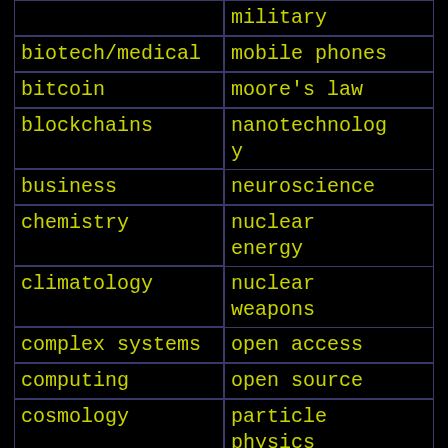military
biotech/medical
mobile phones
bitcoin
moore's law
blockchains
nanotechnology
business
neuroscience
chemistry
nuclear energy
climatology
nuclear weapons
complex systems
open access
computing
open source
cosmology
particle physics
counterterrorism
philosophy
cryonics
physics
cryptocurrencies
policy
cybercrime/malcode
polls
cyborgs
posthumanism
defense
privacy
disruptive technology
driverless cars